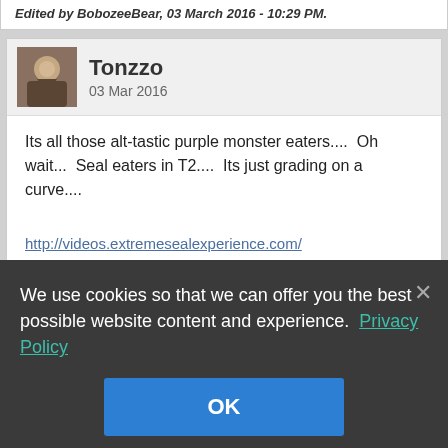Edited by BobozeeBear, 03 March 2016 - 10:29 PM.
Tonzzo
03 Mar 2016
Its all those alt-tastic purple monster eaters....  Oh wait...  Seal eaters in T2....  Its just grading on a curve....
http://videos.extremesealexperience.com/
Check out this Phonyseal! 🧑‍✈️
DPTL
We use cookies so that we can offer you the best possible website content and experience. Privacy Policy
OK